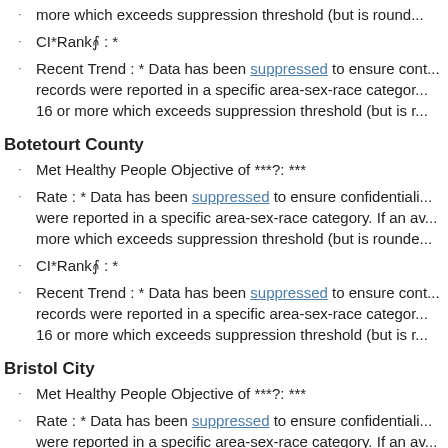more which exceeds suppression threshold (but is round...
CI*Rank⋔ : *
Recent Trend : * Data has been suppressed to ensure cont... records were reported in a specific area-sex-race category. 16 or more which exceeds suppression threshold (but is r...
Botetourt County
Met Healthy People Objective of ***?: ***
Rate : * Data has been suppressed to ensure confidentiali... were reported in a specific area-sex-race category. If an av... more which exceeds suppression threshold (but is rounde...
CI*Rank⋔ : *
Recent Trend : * Data has been suppressed to ensure cont... records were reported in a specific area-sex-race category. 16 or more which exceeds suppression threshold (but is r...
Bristol City
Met Healthy People Objective of ***?: ***
Rate : * Data has been suppressed to ensure confidentiali... were reported in a specific area-sex-race category. If an av... more which exceeds suppression threshold (but is rounde...
CI*Rank⋔ : *